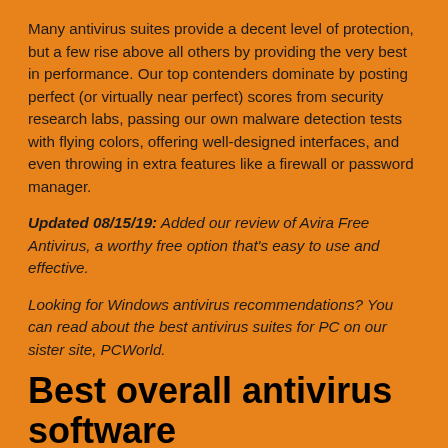Many antivirus suites provide a decent level of protection, but a few rise above all others by providing the very best in performance. Our top contenders dominate by posting perfect (or virtually near perfect) scores from security research labs, passing our own malware detection tests with flying colors, offering well-designed interfaces, and even throwing in extra features like a firewall or password manager.
Updated 08/15/19: Added our review of Avira Free Antivirus, a worthy free option that's easy to use and effective.
Looking for Windows antivirus recommendations? You can read about the best antivirus suites for PC on our sister site, PCWorld.
Best overall antivirus software
on Sophos
Sophos Home Premium has the most extensive and up-to-date approach to fighting malware at an unbeatable price.
Sophos Home Premium is...Effective malware protection...